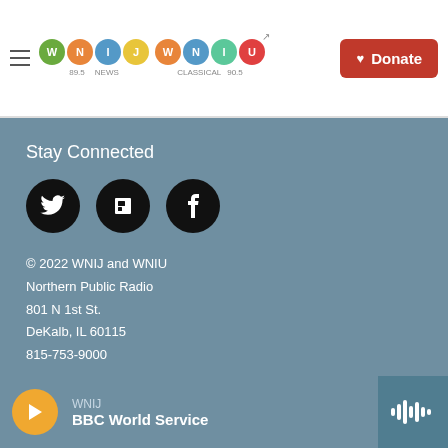WNIJ 89.5 NEWS | WNIU CLASSICAL 90.5 | Donate
Stay Connected
[Figure (logo): Social media icons: Twitter, Flipboard, Facebook — black circles]
© 2022 WNIJ and WNIU
Northern Public Radio
801 N 1st St.
DeKalb, IL 60115
815-753-9000
Discussion Policy
WNIJ | BBC World Service